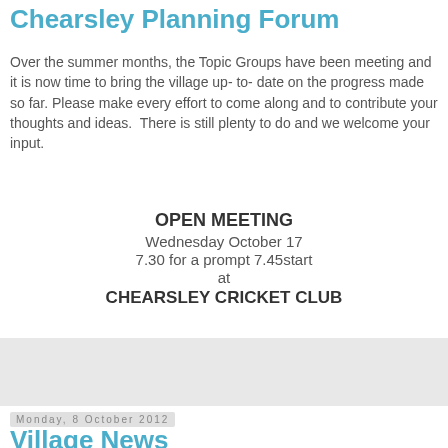Chearsley Planning Forum
Over the summer months, the Topic Groups have been meeting and it is now time to bring the village up- to- date on the progress made so far. Please make every effort to come along and to contribute your thoughts and ideas.  There is still plenty to do and we welcome your input.
OPEN MEETING
Wednesday October 17
7.30 for a prompt 7.45start
at
CHEARSLEY CRICKET CLUB
Monday, 8 October 2012
Village News
with Margaret Morhey